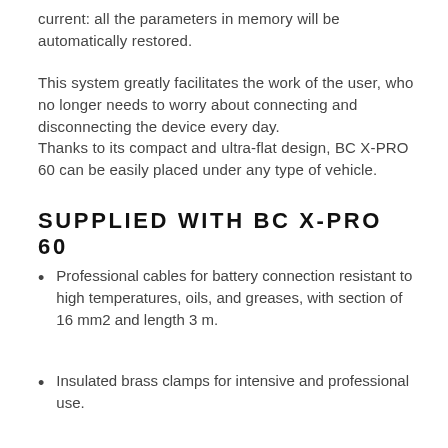current: all the parameters in memory will be automatically restored.
This system greatly facilitates the work of the user, who no longer needs to worry about connecting and disconnecting the device every day.
Thanks to its compact and ultra-flat design, BC X-PRO 60 can be easily placed under any type of vehicle.
SUPPLIED WITH BC X-PRO 60
Professional cables for battery connection resistant to high temperatures, oils, and greases, with section of 16 mm2 and length 3 m.
Insulated brass clamps for intensive and professional use.